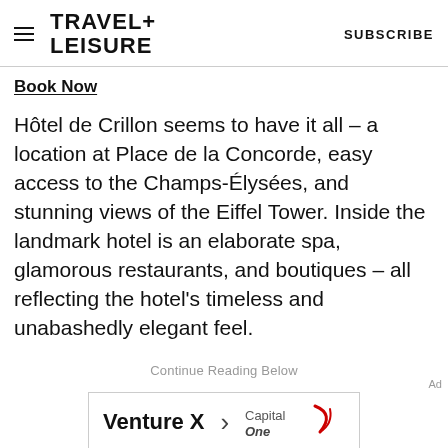TRAVEL+ LEISURE   SUBSCRIBE
Book Now
Hôtel de Crillon seems to have it all – a location at Place de la Concorde, easy access to the Champs-Élysées, and stunning views of the Eiffel Tower. Inside the landmark hotel is an elaborate spa, glamorous restaurants, and boutiques – all reflecting the hotel's timeless and unabashedly elegant feel.
Continue Reading Below
Ad
[Figure (other): Capital One Venture X advertisement banner with text 'Venture X > Capital One']